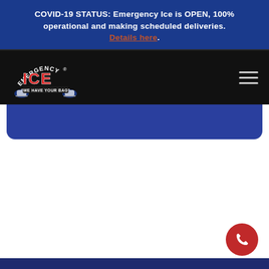COVID-19 STATUS: Emergency Ice is OPEN, 100% operational and making scheduled deliveries. Details here.
[Figure (logo): Emergency Ice logo with ice skates and text 'WE HAVE YOUR BAG' on black navigation bar with hamburger menu icon]